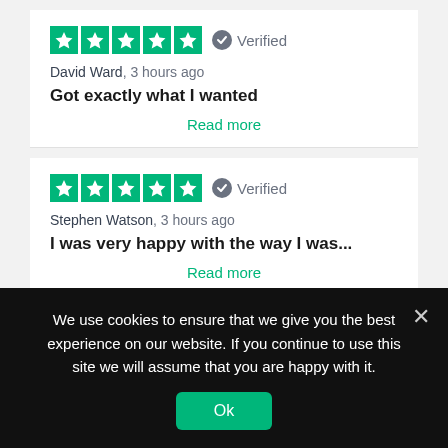[Figure (other): Five green star rating boxes with white stars, followed by a grey verified badge icon and the word Verified]
David Ward, 3 hours ago
Got exactly what I wanted
Read more
[Figure (other): Five green star rating boxes with white stars, followed by a grey verified badge icon and the word Verified]
Stephen Watson, 3 hours ago
I was very happy with the way I was...
Read more
We use cookies to ensure that we give you the best experience on our website. If you continue to use this site we will assume that you are happy with it.